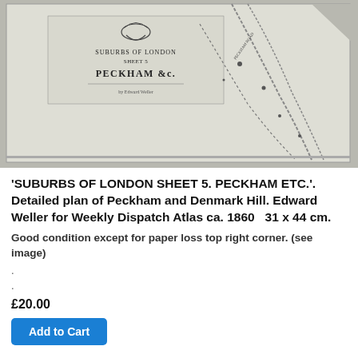[Figure (map): Antique map photograph showing 'Suburbs of London Sheet 5. Peckham &c.' by Edward Weller. Shows street plan of Peckham and Denmark Hill area with cartouche, decorative header, and dotted road lines. Paper loss visible at top right corner.]
'SUBURBS OF LONDON SHEET 5. PECKHAM ETC.'. Detailed plan of Peckham and Denmark Hill. Edward Weller for Weekly Dispatch Atlas ca. 1860  31 x 44 cm.
Good condition except for paper loss top right corner. (see image)
.
.
£20.00
Add to Cart